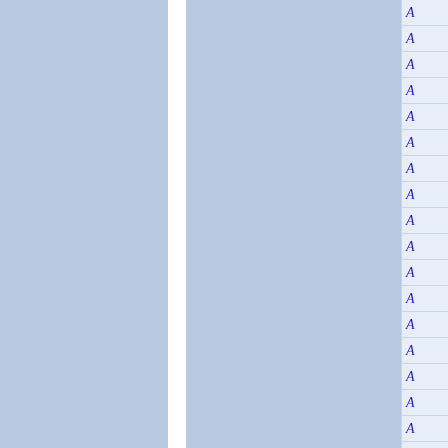[Figure (other): A document layout preview showing two blue-grey columns separated by a white vertical divider, with a right-side panel containing a vertical list of italic blue letter 'A' characters separated by horizontal lines, representing a font or style selector interface.]